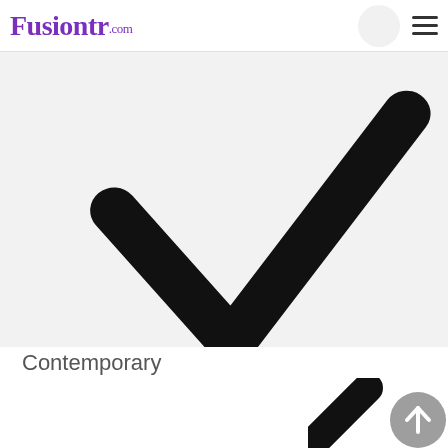Fusiontr.com
[Figure (illustration): Large black checkmark (tick) icon on a light gray background, indicating a selected or approved state]
Contemporary
[Figure (illustration): Partial view of another icon (black diagonal stroke) and a gray circular scroll-to-top button with upward arrow at bottom right]